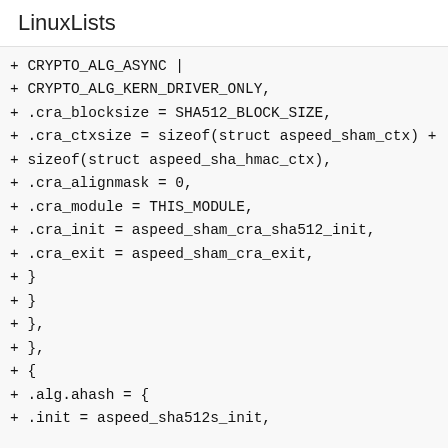LinuxLists
+ CRYPTO_ALG_ASYNC |
+ CRYPTO_ALG_KERN_DRIVER_ONLY,
+ .cra_blocksize = SHA512_BLOCK_SIZE,
+ .cra_ctxsize = sizeof(struct aspeed_sham_ctx) +
+ sizeof(struct aspeed_sha_hmac_ctx),
+ .cra_alignmask = 0,
+ .cra_module = THIS_MODULE,
+ .cra_init = aspeed_sham_cra_sha512_init,
+ .cra_exit = aspeed_sham_cra_exit,
+ }
+ }
+ },
+ },
+ {
+ .alg.ahash = {
+ .init = aspeed_sha512s_init,